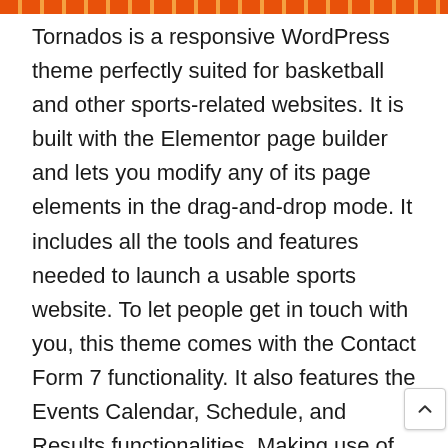[orange decorative bar]
Tornados is a responsive WordPress theme perfectly suited for basketball and other sports-related websites. It is built with the Elementor page builder and lets you modify any of its page elements in the drag-and-drop mode. It includes all the tools and features needed to launch a usable sports website. To let people get in touch with you, this theme comes with the Contact Form 7 functionality. It also features the Events Calendar, Schedule, and Results functionalities. Making use of the full WooCommerce feature, you can start selling sports gear on your websites. When you open the theme’s live demo, you will notice stunning animation elements that bring engaging feel to the site. In addition, it’s easy to